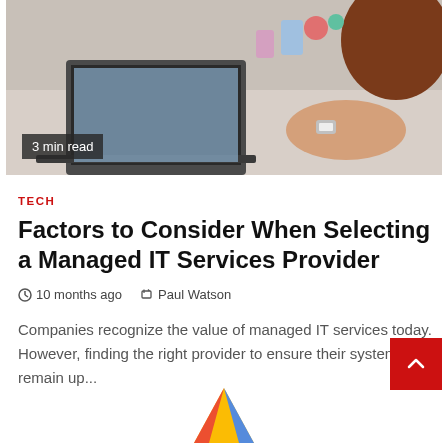[Figure (photo): Woman working at a desk with laptop, wearing a watch, office supplies visible in background. Badge reads '3 min read'.]
TECH
Factors to Consider When Selecting a Managed IT Services Provider
10 months ago   Paul Watson
Companies recognize the value of managed IT services today. However, finding the right provider to ensure their systems remain up...
[Figure (logo): Google Ads logo (partial, bottom of page)]